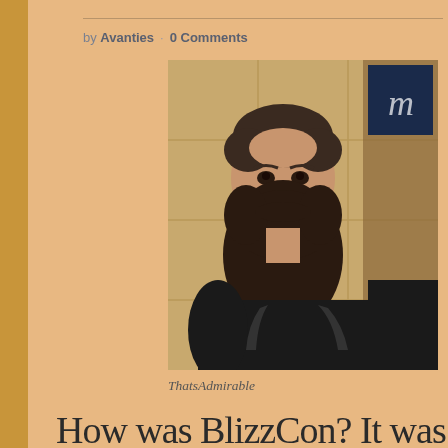by Avanties · 0 Comments
[Figure (photo): A man with a large beard taking a selfie indoors, wearing a black shirt, with a golden/wood-paneled background.]
ThatsAdmirable
How was BlizzCon? It was Adr